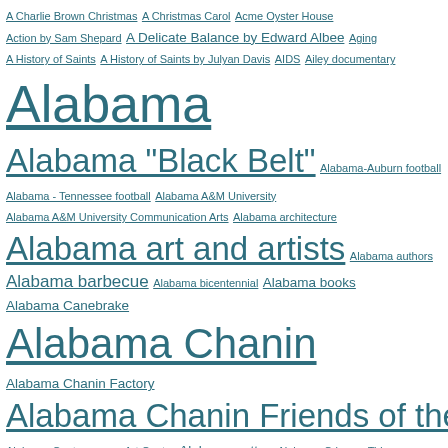A Charlie Brown Christmas A Christmas Carol Acme Oyster House Action by Sam Shepard A Delicate Balance by Edward Albee Aging A History of Saints A History of Saints by Julyan Davis AIDS Ailey documentary Alabama Alabama "Black Belt" Alabama-Auburn football Alabama - Tennessee football Alabama A&M University Alabama A&M University Communication Arts Alabama architecture Alabama art and artists Alabama authors Alabama barbecue Alabama bicentennial Alabama books Alabama Canebrake Alabama Chanin Alabama Chanin Factory Alabama Chanin Friends of the Cafe Alabama Contemporary Art Center Alabama cotton Alabama Crimson Tide Alabama Farmers Market Alabama farming Alabama filmmakers Alabama folklife Alabama Folk Pottery by Joey Brackner Alabama food Alabama Forge Council Alabama fruits Alabama gardening Alabama harvest Alabama hobo Alabama Jazz Hall of Fame Alabama juke joint Alabama literature Alabama marble Alabama Moving Image Association Alabama music Alabama peaches Alabama Peanut Company Alabama plants Alabama politics Alabama quilters Alabama sauce Alabama seafood Alabama self-taught artists Alabama Shakespeare Festival Alabama Show Horse barbecue sauce Alabama sports Alabama State Fair Alabama summer Alabama Theatre Alabama Tourism Alabama travel Alabama writers Alabama Writers' Forum Alan Elliott Alan Hunter A la recherche du temps perdu Albany Bistro Alberta City Al Clayton photographer Aldridge Gardens Alexander Shunnarah Alex Guarnaschelli Alice B. Toklas Alice Waters A Lie of the Mind by Sam Shepard Allan Kress Allen Ham Pottery